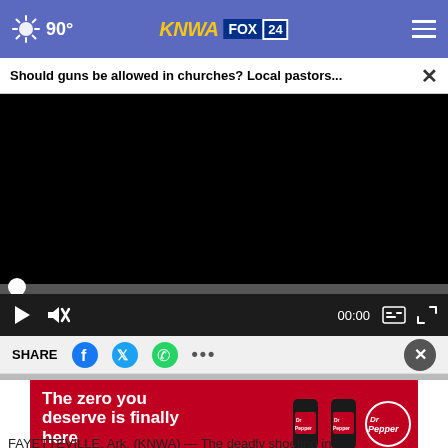90° KNWA FOX 24
Should guns be allowed in churches? Local pastors...
[Figure (screenshot): Black video player window showing a paused video. Progress bar with white scrubber knob at the start. Controls show play button, mute icon, 00:00 timestamp, caption icon, and fullscreen icon.]
SHARE
[Figure (infographic): Dr Pepper advertisement with red background. Text reads: The zero you deserve is finally here. Introducing Dr Pepper Zero Sugar. Shows Dr Pepper Zero Sugar cans and Dr Pepper logo.]
FAYETTEVILLE, Ark. (KNWA) — The deadly shooting in